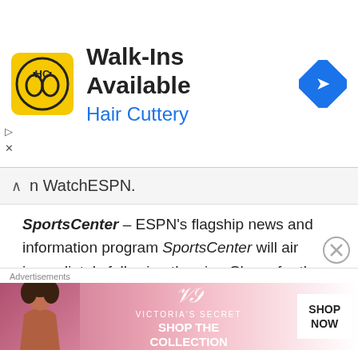[Figure (infographic): Hair Cuttery advertisement banner with yellow logo, 'Walk-Ins Available' headline, and blue arrow direction icon]
on WatchESPN.
SportsCenter – ESPN's flagship news and information program SportsCenter will air immediately following the nine Chase for the NASCAR Sprint Cup events airing on ESPN with expanded post-race coverage, including exclusive interviews with the race winners. ESPN NASCAR analyst Ricky Craven will be in the SportsCenter studio for the post-race analysis and as he has done for the past two
[Figure (infographic): Victoria's Secret advertisement banner with model, VS logo, 'SHOP THE COLLECTION' text, and 'SHOP NOW' button]